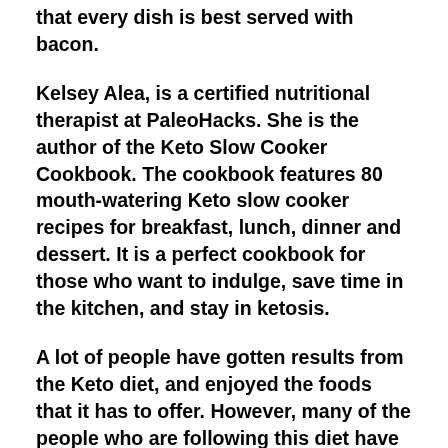that every dish is best served with bacon.
Kelsey Alea, is a certified nutritional therapist at PaleoHacks. She is the author of the Keto Slow Cooker Cookbook. The cookbook features 80 mouth-watering Keto slow cooker recipes for breakfast, lunch, dinner and dessert. It is a perfect cookbook for those who want to indulge, save time in the kitchen, and stay in ketosis.
A lot of people have gotten results from the Keto diet, and enjoyed the foods that it has to offer. However, many of the people who are following this diet have a hard time finding the recipes that they need, especially ones that are quick and easy to complete.
Fortunately, Kelsey Ale, noticed this problem, and decided to do something about it. She found that...